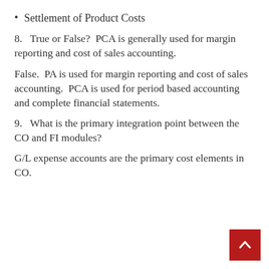Settlement of Product Costs
8.   True or False?  PCA is generally used for margin reporting and cost of sales accounting.
False.  PA is used for margin reporting and cost of sales accounting.  PCA is used for period based accounting and complete financial statements.
9.   What is the primary integration point between the CO and FI modules?
G/L expense accounts are the primary cost elements in CO.